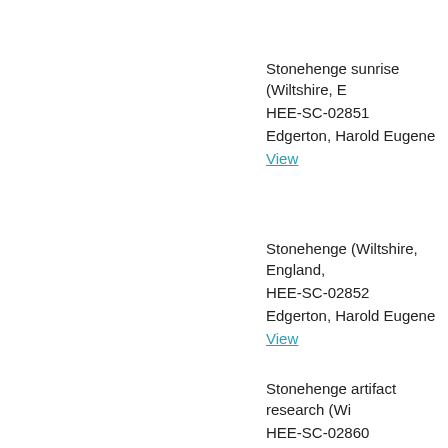Stonehenge sunrise (Wiltshire, E
HEE-SC-02851
Edgerton, Harold Eugene
View
Stonehenge (Wiltshire, England,
HEE-SC-02852
Edgerton, Harold Eugene
View
Stonehenge artifact research (Wi
HEE-SC-02860
Edgerton, Harold Eugene
View